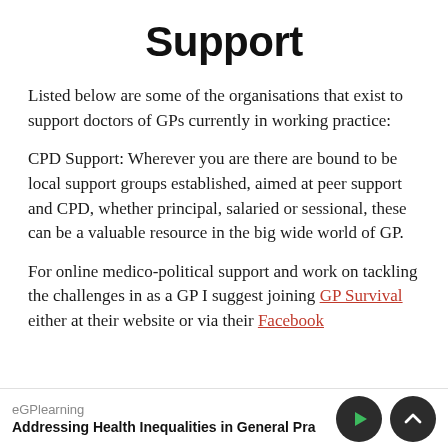Support
Listed below are some of the organisations that exist to support doctors of GPs currently in working practice:
CPD Support: Wherever you are there are bound to be local support groups established, aimed at peer support and CPD, whether principal, salaried or sessional, these can be a valuable resource in the big wide world of GP.
For online medico-political support and work on tackling the challenges in as a GP I suggest joining GP Survival either at their website or via their Facebook
eGPlearning
Addressing Health Inequalities in General Pra